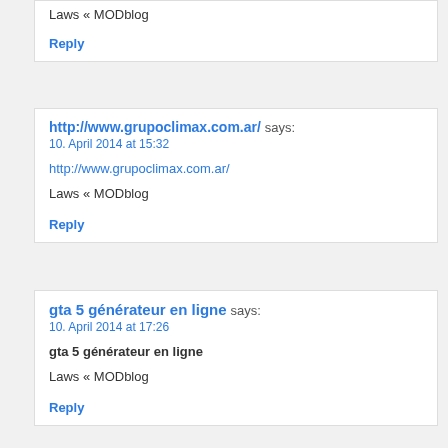Laws « MODblog
Reply
http://www.grupoclimax.com.ar/ says: 10. April 2014 at 15:32
http://www.grupoclimax.com.ar/
Laws « MODblog
Reply
gta 5 générateur en ligne says: 10. April 2014 at 17:26
gta 5 générateur en ligne
Laws « MODblog
Reply
paypal money adder august 2014 says: 11. April 2014 at 00:12
paypal money adder august 2014
Laws « MODblog
Reply